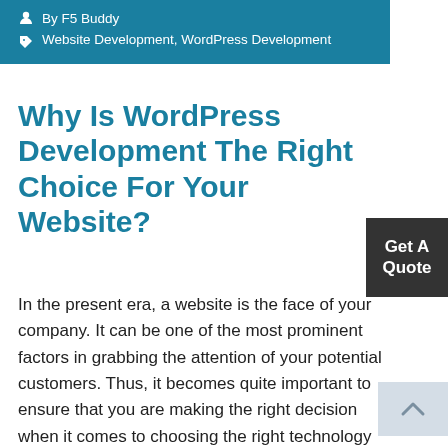By F5 Buddy
Website Development, WordPress Development
Why Is WordPress Development The Right Choice For Your Website?
In the present era, a website is the face of your company. It can be one of the most prominent factors in grabbing the attention of your potential customers. Thus, it becomes quite important to ensure that you are making the right decision when it comes to choosing the right technology stack and framework to [...]